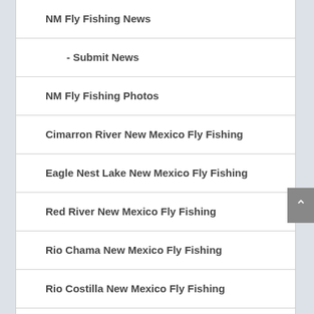NM Fly Fishing News
- Submit News
NM Fly Fishing Photos
Cimarron River New Mexico Fly Fishing
Eagle Nest Lake New Mexico Fly Fishing
Red River New Mexico Fly Fishing
Rio Chama New Mexico Fly Fishing
Rio Costilla New Mexico Fly Fishing